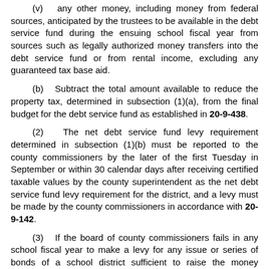(v) any other money, including money from federal sources, anticipated by the trustees to be available in the debt service fund during the ensuing school fiscal year from sources such as legally authorized money transfers into the debt service fund or from rental income, excluding any guaranteed tax base aid.
(b) Subtract the total amount available to reduce the property tax, determined in subsection (1)(a), from the final budget for the debt service fund as established in 20-9-438.
(2) The net debt service fund levy requirement determined in subsection (1)(b) must be reported to the county commissioners by the later of the first Tuesday in September or within 30 calendar days after receiving certified taxable values by the county superintendent as the net debt service fund levy requirement for the district, and a levy must be made by the county commissioners in accordance with 20-9-142.
(3) If the board of county commissioners fails in any school fiscal year to make a levy for any issue or series of bonds of a school district sufficient to raise the money necessary for payment of interest and principal becoming due during the next ensuing school fiscal year, in any amounts established under the